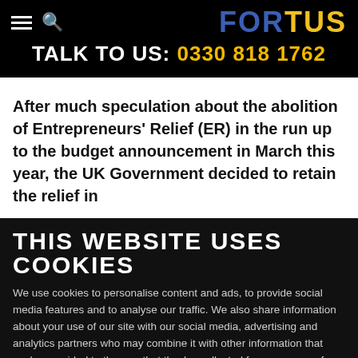[Figure (logo): Fortus logo with blue FOR and yellow TUS text on black background]
TALK TO US: 0330 818 1762
After much speculation about the abolition of Entrepreneurs' Relief (ER) in the run up to the budget announcement in March this year, the UK Government decided to retain the relief in
THIS WEBSITE USES COOKIES
We use cookies to personalise content and ads, to provide social media features and to analyse our traffic. We also share information about your use of our site with our social media, advertising and analytics partners who may combine it with other information that you've provided to them or that they've collected from your use of